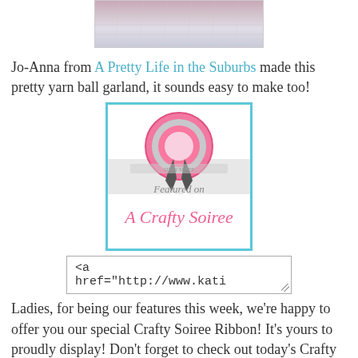[Figure (photo): Partial photo of yarn ball garland with white fabric/ribbon in background]
Jo-Anna from A Pretty Life in the Suburbs made this pretty yarn ball garland, it sounds easy to make too!
[Figure (illustration): Featured on A Crafty Soiree badge/ribbon image with pink rosette and teal border]
<a href="http://www.kati
Ladies, for being our features this week, we're happy to offer you our special Crafty Soiree Ribbon! It's yours to proudly display! Don't forget to check out today's Crafty Soiree post at Yesterday on Tuesday, we both pick three participants to feature each week so you might have been featured by Malia. But you'll have to visit her to find out!
[Figure (illustration): Partial view of another Crafty Soiree badge at bottom of page]